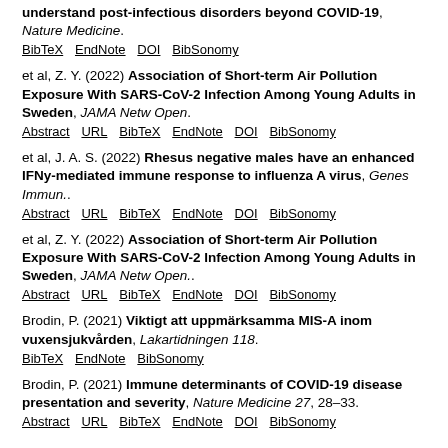understand post-infectious disorders beyond COVID-19, Nature Medicine. BibTeX EndNote DOI BibSonomy
et al, Z. Y. (2022) Association of Short-term Air Pollution Exposure With SARS-CoV-2 Infection Among Young Adults in Sweden, JAMA Netw Open. Abstract URL BibTeX EndNote DOI BibSonomy
et al, J. A. S. (2022) Rhesus negative males have an enhanced IFNy-mediated immune response to influenza A virus, Genes Immun.. Abstract URL BibTeX EndNote DOI BibSonomy
et al, Z. Y. (2022) Association of Short-term Air Pollution Exposure With SARS-CoV-2 Infection Among Young Adults in Sweden, JAMA Netw Open.. Abstract URL BibTeX EndNote DOI BibSonomy
Brodin, P. (2021) Viktigt att uppmärksamma MIS-A inom vuxensjukvården, Lakartidningen 118. BibTeX EndNote BibSonomy
Brodin, P. (2021) Immune determinants of COVID-19 disease presentation and severity, Nature Medicine 27, 28–33. Abstract URL BibTeX EndNote DOI BibSonomy